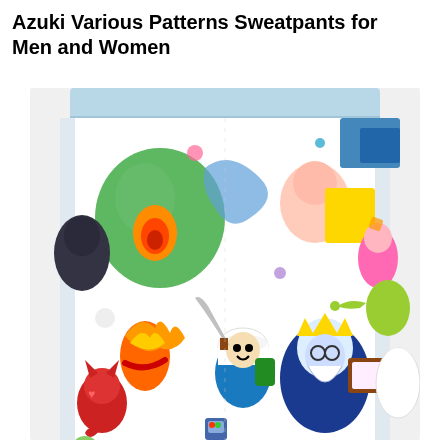Azuki Various Patterns Sweatpants for Men and Women
[Figure (photo): Product photo of Azuki Various Patterns Sweatpants featuring colorful Adventure Time cartoon characters printed all over the fabric, including Finn, Ice King, Flame Princess, and others on a white background. The sweatpants have an elastic waistband visible at the top.]